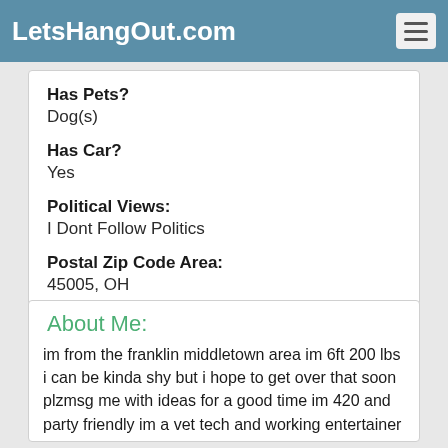LetsHangOut.com
Has Pets?
Dog(s)
Has Car?
Yes
Political Views:
I Dont Follow Politics
Postal Zip Code Area:
45005, OH
About Me:
im from the franklin middletown area im 6ft 200 lbs i can be kinda shy but i hope to get over that soon plzmsg me with ideas for a good time im 420 and party friendly im a vet tech and working entertainer